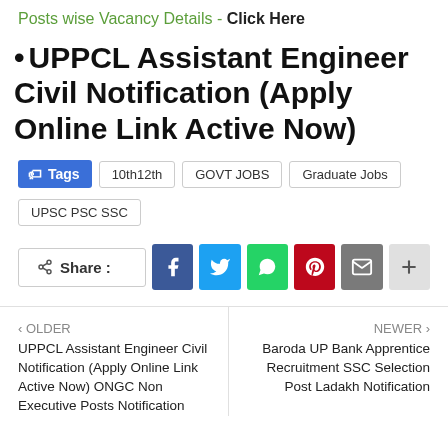Posts wise Vacancy Details - Click Here
UPPCL Assistant Engineer Civil Notification (Apply Online Link Active Now)
Tags: 10th12th | GOVT JOBS | Graduate Jobs | UPSC PSC SSC
Share : Facebook | Twitter | WhatsApp | Pinterest | Email | +
OLDER
UPPCL Assistant Engineer Civil Notification (Apply Online Link Active Now) ONGC Non Executive Posts Notification
NEWER
Baroda UP Bank Apprentice Recruitment SSC Selection Post Ladakh Notification